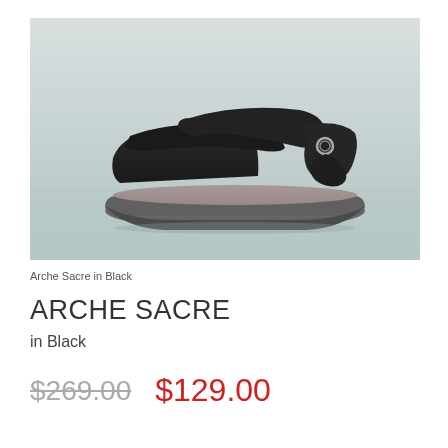[Figure (photo): A black sandal (Arche Sacre) shown in profile view against a light grey/teal background. The sandal has a wide velcro strap across the toe, a back strap with metal buckle, and a dark grey cushioned sole.]
Arche Sacre in Black
ARCHE SACRE
in Black
$269.00  $129.00